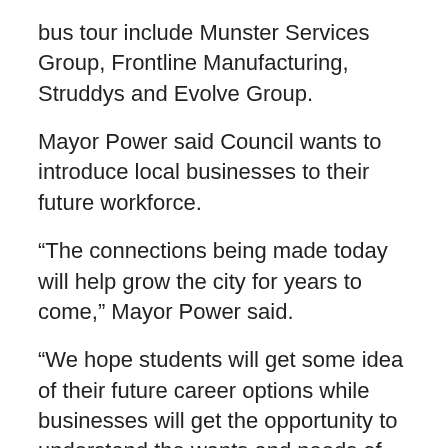bus tour include Munster Services Group, Frontline Manufacturing, Struddys and Evolve Group.
Mayor Power said Council wants to introduce local businesses to their future workforce.
“The connections being made today will help grow the city for years to come,” Mayor Power said.
“We hope students will get some idea of their future career options while businesses will get the opportunity to understand the wants and needs of their future employees.
“The businesses chosen for the tour come from a variety of backgrounds to give the students plenty of options to consider.
“My Local Jobs and Skills Taskforce has a strong focus on enhancing employment opportunities for